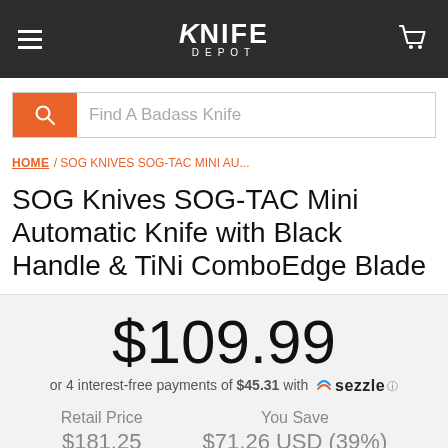Knife Depot
Find A Badass Knife
HOME / SOG KNIVES SOG-TAC MINI AU...
SOG Knives SOG-TAC Mini Automatic Knife with Black Handle & TiNi ComboEdge Blade
$109.99
or 4 interest-free payments of $45.31 with Sezzle
| Retail Price | You Save |
| --- | --- |
| $181.25 | $71.26 USD (39%) |